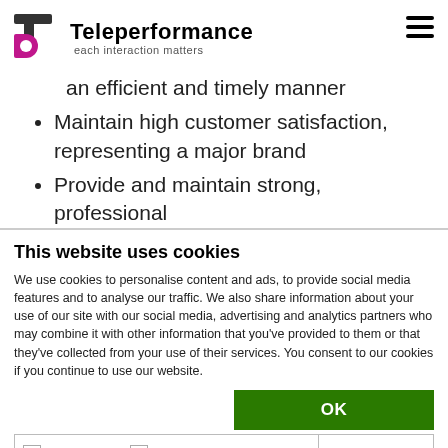Teleperformance — each interaction matters
an efficient and timely manner
Maintain high customer satisfaction, representing a major brand
Provide and maintain strong, professional relationships with all partners and show
This website uses cookies
We use cookies to personalise content and ads, to provide social media features and to analyse our traffic. We also share information about your use of our site with our social media, advertising and analytics partners who may combine it with other information that you've provided to them or that they've collected from your use of their services. You consent to our cookies if you continue to use our website.
OK
Necessary  Preferences  Statistics  Marketing  Show details